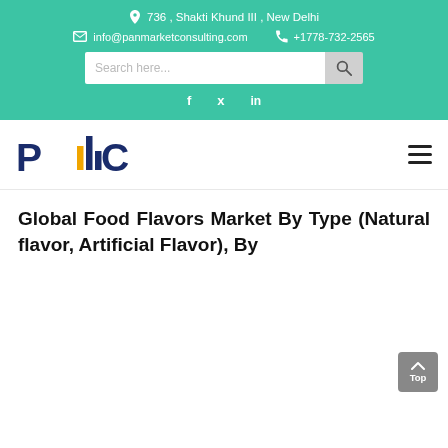736 , Shakti Khund III , New Delhi
info@panmarketconsulting.com  +1778-732-2565
[Figure (logo): PMC Pan Market Consulting logo with blue and yellow bar chart design]
Global Food Flavors Market By Type (Natural flavor, Artificial Flavor), By